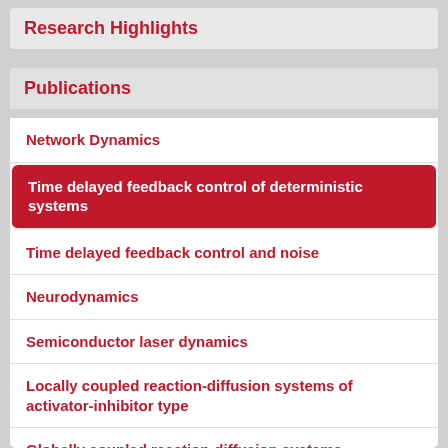Research Highlights
Publications
Network Dynamics
Time delayed feedback control of deterministic systems
Time delayed feedback control and noise
Neurodynamics
Semiconductor laser dynamics
Locally coupled reaction-diffusion systems of activator-inhibitor type
Globally coupled reaction-diffusion systems